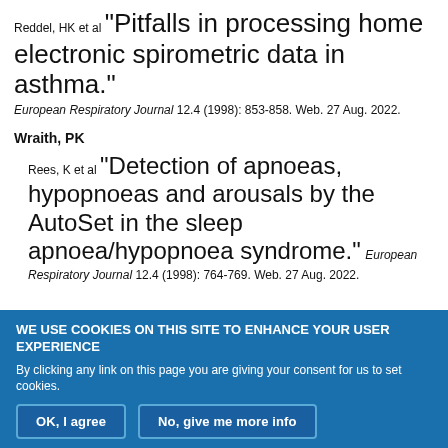Reddel, HK et al "Pitfalls in processing home electronic spirometric data in asthma." European Respiratory Journal 12.4 (1998): 853-858. Web. 27 Aug. 2022.
Wraith, PK
Rees, K et al "Detection of apnoeas, hypopnoeas and arousals by the AutoSet in the sleep apnoea/hypopnoea syndrome." European Respiratory Journal 12.4 (1998): 764-769. Web. 27 Aug. 2022.
WE USE COOKIES ON THIS SITE TO ENHANCE YOUR USER EXPERIENCE
By clicking any link on this page you are giving your consent for us to set cookies.